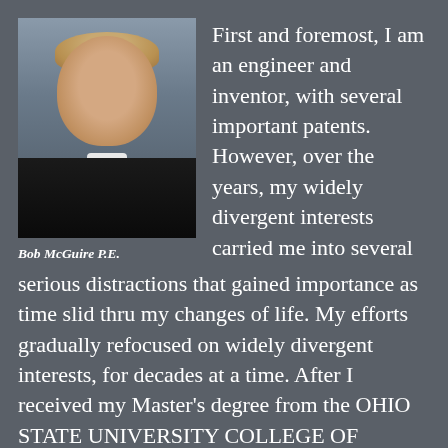[Figure (photo): Professional headshot portrait of Bob McGuire P.E., a middle-aged man with light hair and a beard, wearing a dark suit and tie, against a grey-blue background.]
Bob McGuire P.E.
First and foremost, I am an engineer and inventor, with several important patents. However, over the years, my widely divergent interests carried me into several serious distractions that gained importance as time slid thru my changes of life. My efforts gradually refocused on widely divergent interests, for decades at a time. After I received my Master's degree from the OHIO STATE UNIVERSITY COLLEGE OF ENGINEERING, I